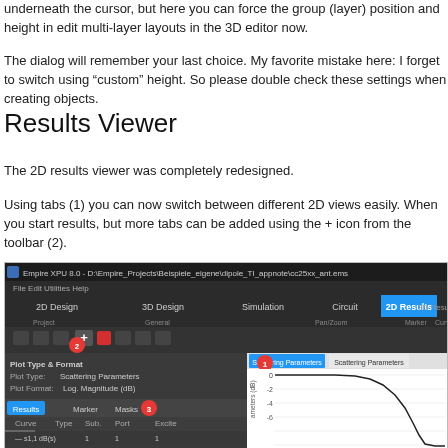underneath the cursor, but here you can force the group (layer) position and height in edit multi-layer layouts in the 3D editor now.
The dialog will remember your last choice. My favorite mistake here: I forget to switch using "custom" height. So please double check these settings when creating objects.
Results Viewer
The 2D results viewer was completely redesigned.
Using tabs (1) you can now switch between different 2D views easily. When you start results, but more tabs can be added using the + icon from the toolbar (2).
[Figure (screenshot): Empire XPU 8.0 software screenshot showing the 2D Results viewer interface with toolbar, Plot Type & Format panel on the left, and a Scattering Parameters plot on the right showing a curve dropping sharply around -6 dB. Numbered callouts: 1 (tabs), 2 (+ button in toolbar), 3 (Results/Marker/Masks tabs).]